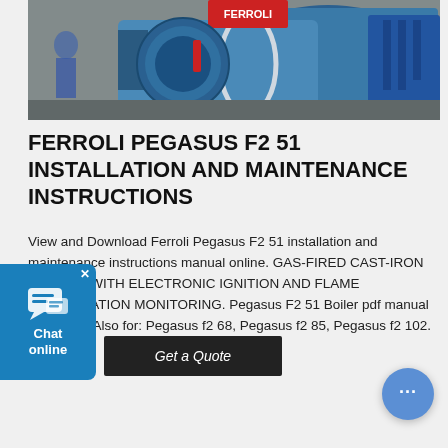[Figure (photo): Industrial blue gas-fired cast-iron boiler machine in a workshop/installation setting, showing the front and side of a large blue Ferroli Pegasus boiler unit with pipes and components visible]
FERROLI PEGASUS F2 51 INSTALLATION AND MAINTENANCE INSTRUCTIONS
View and Download Ferroli Pegasus F2 51 installation and maintenance instructions manual online. GAS-FIRED CAST-IRON BOILERS WITH ELECTRONIC IGNITION AND FLAME RECTIFICATION MONITORING. Pegasus F2 51 Boiler pdf manual download. Also for: Pegasus f2 68, Pegasus f2 85, Pegasus f2 102.